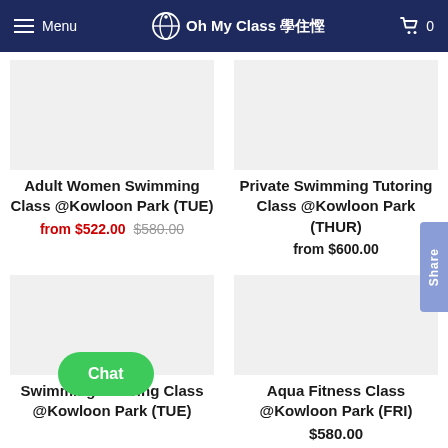Menu | Oh My Class 學住慳 | 0
Adult Women Swimming Class @Kowloon Park (TUE)
from $522.00 $580.00
Private Swimming Tutoring Class @Kowloon Park (THUR)
from $600.00
Swimming Tutoring Class @Kowloon Park (TUE)
Aqua Fitness Class @Kowloon Park (FRI)
$580.00
Chat